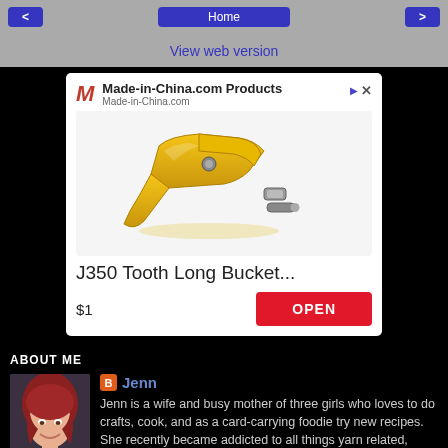< Home >
View web version
[Figure (other): Advertisement for Made-in-China.com Products showing J350 Tooth Long Bucket part with price $1 and OPEN button]
ABOUT ME
[Figure (photo): Photo of Jenn, a woman with red/auburn hair smiling]
Jenn
Jenn is a wife and busy mother of three girls who loves to do crafts, cook, and as a card-carrying foodie try new recipes. She recently became addicted to all things yarn related, especially crochet. Armed with a new sewing